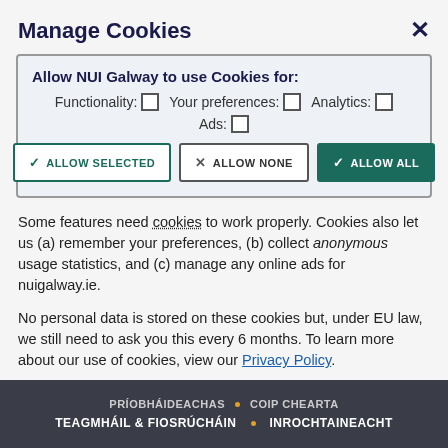Manage Cookies
Allow NUI Galway to use Cookies for: Functionality: ☐  Your preferences: ☐  Analytics: ☐  Ads: ☐
✓ ALLOW SELECTED   ✗ ALLOW NONE   ✓ ALLOW ALL
Some features need cookies to work properly. Cookies also let us (a) remember your preferences, (b) collect anonymous usage statistics, and (c) manage any online ads for nuigalway.ie.
No personal data is stored on these cookies but, under EU law, we still need to ask you this every 6 months. To learn more about our use of cookies, view our Privacy Policy.
PRÍOBHÁIDEACHAS • COIP CHEARTA  TEAGMHÁIL & FIOSRÚCHÁIN • INROCHTAINEACHT